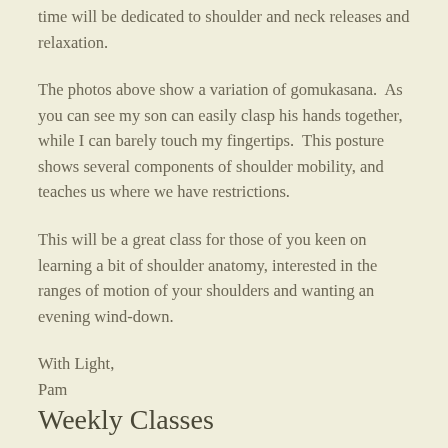time will be dedicated to shoulder and neck releases and relaxation.
The photos above show a variation of gomukasana.  As you can see my son can easily clasp his hands together, while I can barely touch my fingertips.  This posture shows several components of shoulder mobility, and teaches us where we have restrictions.
This will be a great class for those of you keen on learning a bit of shoulder anatomy, interested in the ranges of motion of your shoulders and wanting an evening wind-down.
With Light,
Pam
Weekly Classes